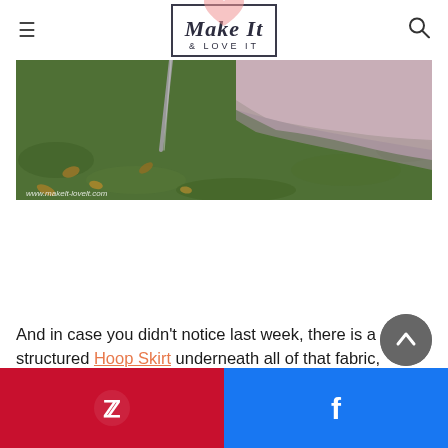Make It & LOVE IT
[Figure (photo): Close-up photo of grass with fallen autumn leaves, a metal rod or stick leaning at an angle, and a light pink/lavender fabric draped in the upper right area. Watermark reads www.makelt-lovelt.com]
And in case you didn't notice last week, there is a structured Hoop Skirt underneath all of that fabric, holding up the skirts of the dress and giving it some serious fullness!
[Figure (other): Social share bar at bottom: Pinterest (red, left half) and Facebook (blue, right half) buttons with icons]